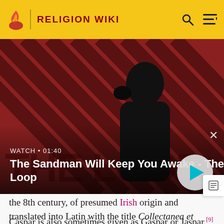RELIGION WIKI
[Figure (screenshot): Video thumbnail for 'The Sandman Will Keep You Awake - The Loop' showing a dark figure with a raven on a striped red and black background. Shows WATCH • 01:40 label and a play button.]
the 8th century, of presumed Irish origin and translated into Latin with the title Collectanea et Flores, continue the tradition of three kings and their names and gives additional details.[7][8]
Caspar is also sometimes given as Gaspar or Jaspar.[9]